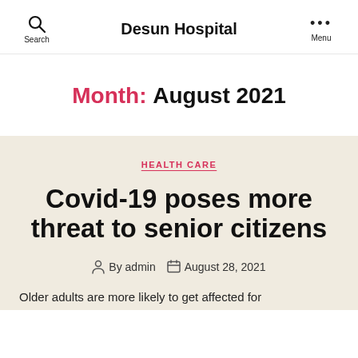Search | Desun Hospital | Menu
Month: August 2021
HEALTH CARE
Covid-19 poses more threat to senior citizens
By admin | August 28, 2021
Older adults are more likely to get affected for